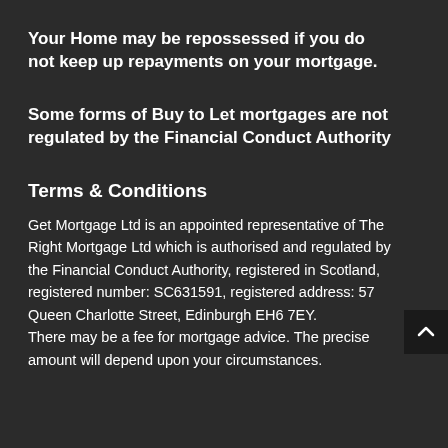Your Home may be repossessed if you do not keep up repayments on your mortgage.
Some forms of Buy to Let mortgages are not regulated by the Financial Conduct Authority
Terms & Conditions
Get Mortgage Ltd is an appointed representative of The Right Mortgage Ltd which is authorised and regulated by the Financial Conduct Authority, registered in Scotland, registered number: SC631591, registered address: 57 Queen Charlotte Street, Edinburgh EH6 7EY.
There may be a fee for mortgage advice. The precise amount will depend upon your circumstances.